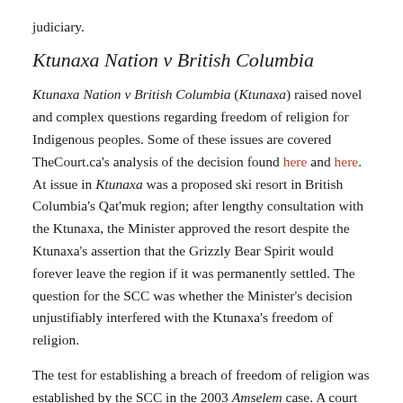judiciary.
Ktunaxa Nation v British Columbia
Ktunaxa Nation v British Columbia (Ktunaxa) raised novel and complex questions regarding freedom of religion for Indigenous peoples. Some of these issues are covered TheCourt.ca’s analysis of the decision found here and here. At issue in Ktunaxa was a proposed ski resort in British Columbia’s Qat’muk region; after lengthy consultation with the Ktunaxa, the Minister approved the resort despite the Ktunaxa’s assertion that the Grizzly Bear Spirit would forever leave the region if it was permanently settled. The question for the SCC was whether the Minister’s decision unjustifiably interfered with the Ktunaxa’s freedom of religion.
The test for establishing a breach of freedom of religion was established by the SCC in the 2003 Amselem case. A court must inquire if the government interfered with a claimant’s